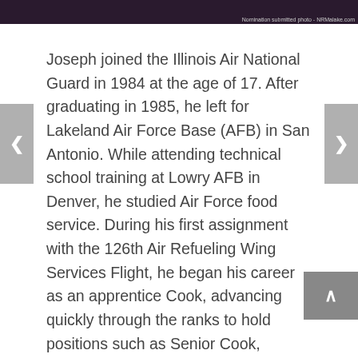[Figure (photo): Top strip showing a partial photo of a person, dark background, with a photo credit reading 'Nomination submitted photo - NRMalake.com']
Joseph joined the Illinois Air National Guard in 1984 at the age of 17. After graduating in 1985, he left for Lakeland Air Force Base (AFB) in San Antonio. While attending technical school training at Lowry AFB in Denver, he studied Air Force food service. During his first assignment with the 126th Air Refueling Wing Services Flight, he began his career as an apprentice Cook, advancing quickly through the ranks to hold positions such as Senior Cook, Supervisor, and Food Production Manager.
In 1991, during Operation Desert Storm, Bluver was put on active duty, and stationed at Grissom Air Force Base in Indiana. He left the Illinois National Guard after 16 years and